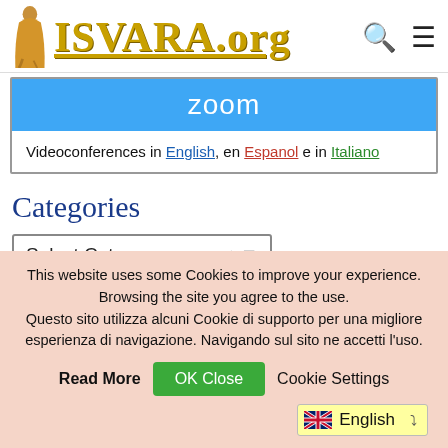[Figure (logo): ISVARA.org website logo with a robed figure walking and gold serif text 'ISVARA.org' with search and hamburger menu icons]
[Figure (screenshot): Zoom videoconference banner in blue with 'zoom' text and text 'Videoconferences in English, en Espanol e in Italiano']
Categories
Select Category
This website uses some Cookies to improve your experience. Browsing the site you agree to the use. Questo sito utilizza alcuni Cookie di supporto per una migliore esperienza di navigazione. Navigando sul sito ne accetti l'uso.
Read More  OK Close  Cookie Settings
English